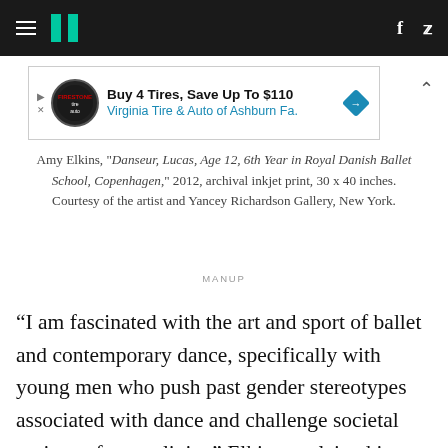HuffPost navigation with hamburger menu, logo, Facebook and Twitter icons
[Figure (other): Advertisement banner: Buy 4 Tires, Save Up To $110 — Virginia Tire & Auto of Ashburn Fa.]
Amy Elkins, "Danseur, Lucas, Age 12, 6th Year in Royal Danish Ballet School, Copenhagen," 2012, archival inkjet print, 30 x 40 inches. Courtesy of the artist and Yancey Richardson Gallery, New York.
MANUP
“I am fascinated with the art and sport of ballet and contemporary dance, specifically with young men who push past gender stereotypes associated with dance and challenge societal notions of masculinity,” Elkins explained in an previous interview with HuffPost. Her images show how the boundaries that separate art and